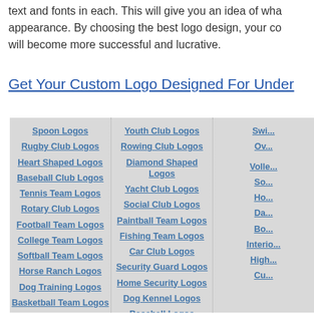text and fonts in each. This will give you an idea of what appearance. By choosing the best logo design, your co will become more successful and lucrative.
Get Your Custom Logo Designed For Under
| Column 1 | Column 2 | Column 3 |
| --- | --- | --- |
| Spoon Logos | Youth Club Logos | Swi... |
| Rugby Club Logos | Rowing Club Logos | Ov... |
| Heart Shaped Logos | Diamond Shaped Logos |  |
| Baseball Club Logos | Yacht Club Logos | Volle... |
| Tennis Team Logos | Social Club Logos | So... |
| Rotary Club Logos | Paintball Team Logos | Ho... |
| Football Team Logos | Fishing Team Logos | Da... |
| College Team Logos | Car Club Logos | Bo... |
| Softball Team Logos | Security Guard Logos | Interio... |
| Horse Ranch Logos | Home Security Logos | High... |
| Dog Training Logos | Dog Kennel Logos | Cu... |
| Basketball Team Logos | Baseball Logos |  |